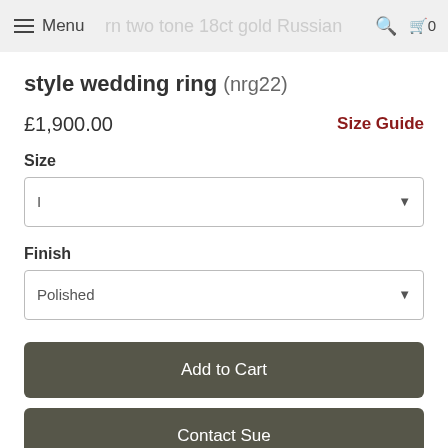Menu | modern two tone 18ct gold Russian style wedding ring
style wedding ring (nrg22)
£1,900.00
Size Guide
Size
I
Finish
Polished
Add to Cart
Contact Sue